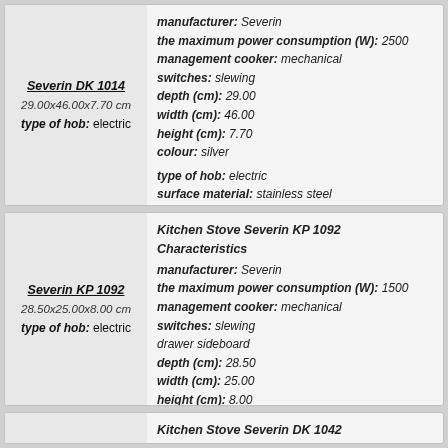Severin DK 1014 | 29.00x46.00x7.70 cm | type of hob: electric | manufacturer: Severin | the maximum power consumption (W): 2500 | management cooker: mechanical | switches: slewing | depth (cm): 29.00 | width (cm): 46.00 | height (cm): 7.70 | colour: silver | type of hob: electric | surface material: stainless steel | more information
Kitchen Stove Severin KP 1092 Characteristics | manufacturer: Severin | the maximum power consumption (W): 1500 | management cooker: mechanical | switches: slewing | drawer sideboard | depth (cm): 28.50 | width (cm): 25.00 | height (cm): 8.00 | colour: silver | type of hob: electric | electric hotplate: 1 | surface material: stainless steel | more information
Kitchen Stove Severin DK 1042 Characteristics | manufacturer: Severin | the maximum power consumption (W): 2500